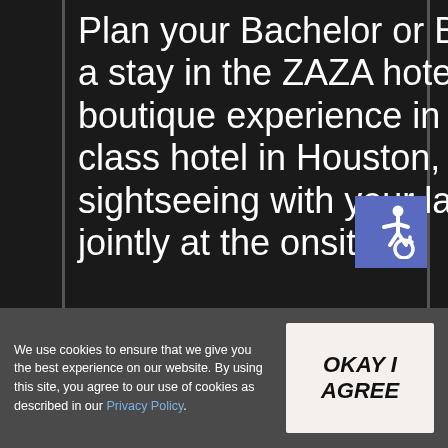Plan your Bachelor or Bachelorette Parties around a stay in the ZAZA hotel Houston for a unique boutique experience in the museum district. A top class hotel in Houston, it is a perfect place for sightseeing with your ladies and booking treatments jointly at the onsite
[Figure (infographic): Accessibility icon (wheelchair symbol) on a blue/purple background square]
We use cookies to ensure that we give you the best experience on our website. By using this site, you agree to our use of cookies as described in our Privacy Policy.